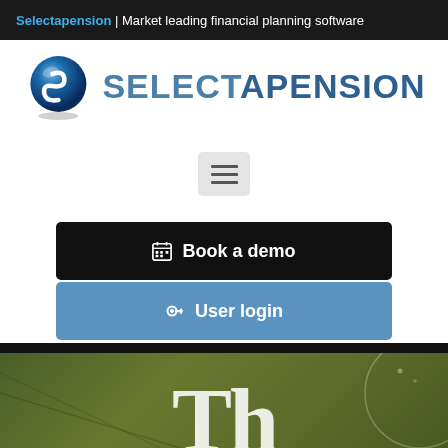Selectapension | Market leading financial planning software
[Figure (logo): Selectapension logo: blue spherical icon with S shape and text SELECTAPENSION in blue]
[Figure (other): Hamburger menu button with three horizontal lines]
Book a demo
User login
[Figure (photo): Olive green background image with partial white letter T visible at bottom center]